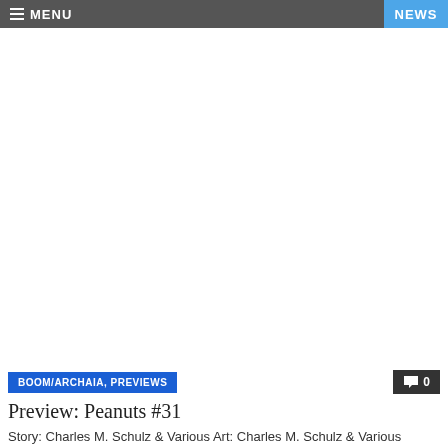MENU  NEWS
[Figure (other): Large white blank/empty image area placeholder]
BOOM/ARCHAIA, PREVIEWS
0
Preview: Peanuts #31
Story: Charles M. Schulz & Various Art: Charles M. Schulz & Various Cover: